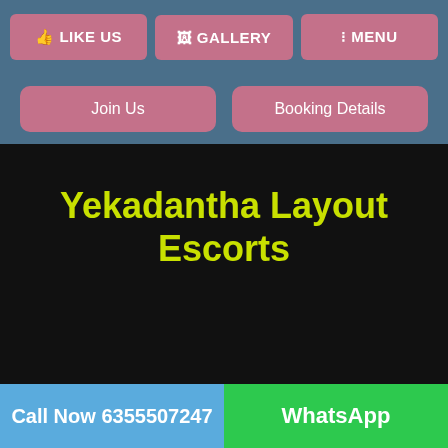LIKE US | GALLERY | MENU
Join Us | Booking Details
Yekadantha Layout Escorts
Call Now 6355507247 | WhatsApp